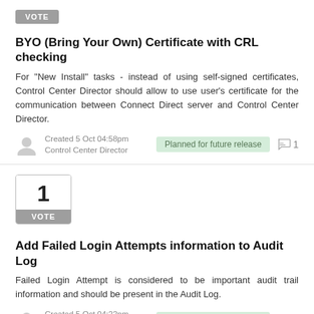[Figure (other): Vote button badge (grey, no number)]
BYO (Bring Your Own) Certificate with CRL checking
For "New Install" tasks - instead of using self-signed certificates, Control Center Director should allow to use user's certificate for the communication between Connect Direct server and Control Center Director.
Created 5 Oct 04:58pm
Control Center Director | Planned for future release | 1 comment
[Figure (other): Vote button with number 1]
Add Failed Login Attempts information to Audit Log
Failed Login Attempt is considered to be important audit trail information and should be present in the Audit Log.
Created 5 Oct 04:22pm
Control Center Director | Planned for future release | 1 comment
[Figure (other): Vote button badge (grey, no number, partial at bottom)]